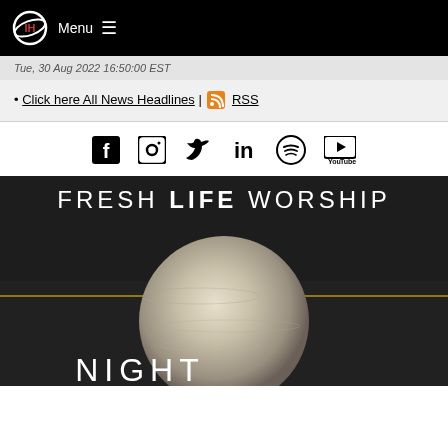Menu
Tue, 30 Aug 2022 16:50:00 EST
Click here All News Headlines | RSS
[Figure (infographic): Social media icons: Facebook, Instagram, Twitter, LinkedIn, Spotify, YouTube]
[Figure (photo): Fresh Life Worship album art - dark textured background with a planet/moon sphere, text reads FRESH LIFE WORSHIP and NIGHT at bottom]